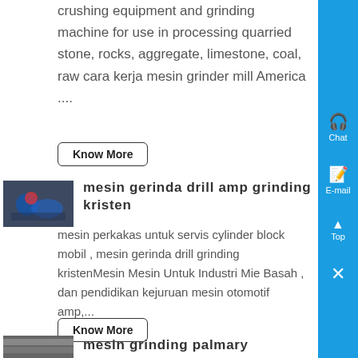crushing equipment and grinding machine for use in processing quarried stone, rocks, aggregate, limestone, coal, raw cara kerja mesin grinder mill America ....
Know More
[Figure (photo): Photo of a person using a grinding machine, industrial setting]
mesin gerinda drill amp grinding kristen
mesin perkakas untuk servis cylinder block mobil , mesin gerinda drill grinding kristenMesin Mesin Untuk Industri Mie Basah , dan pendidikan kejuruan mesin otomotif amp,...
Know More
[Figure (photo): Photo of industrial grinding palmary equipment]
mesin grinding palmary